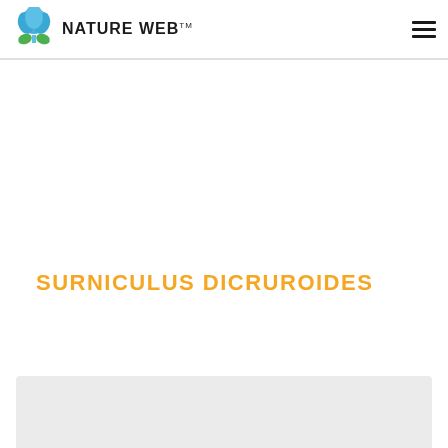NATURE WEB™
SURNICULUS DICRUROIDES
[Figure (other): Gray placeholder content box at the bottom of the page]